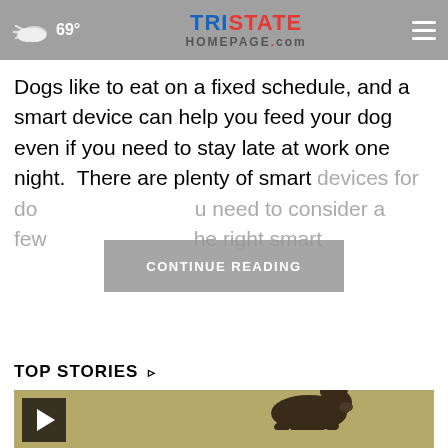69° Tristate Homepage.com
Dogs like to eat on a fixed schedule, and a smart device can help you feed your dog even if you need to stay late at work one night. There are plenty of smart devices for do... u need to consider a few... he right smart
CONTINUE READING
TOP STORIES ›
[Figure (screenshot): Video thumbnail showing a dark brown bear silhouette on a khaki/tan ground, with a black play button triangle in the upper-left corner.]